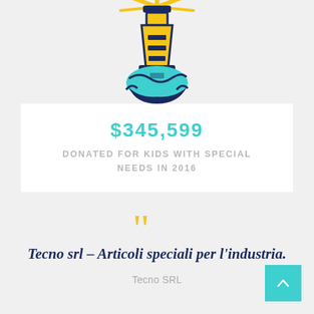[Figure (illustration): Lighthouse icon with yellow tower, teal/cyan base with waves, dark navy outline, partially cropped at top of page]
$345,599
DONATED FOR KIDS WITH SPECIAL NEEDS IN 2016
Tecno srl – Articoli speciali per l'industria.
Tecno SRL